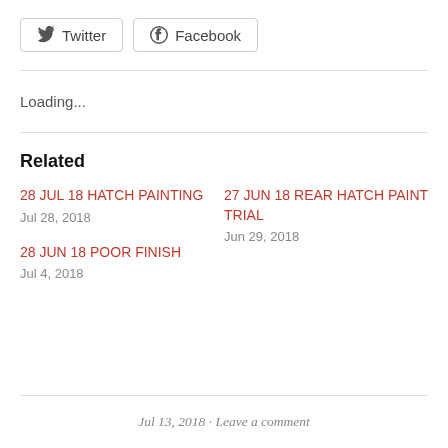Twitter  Facebook
Loading...
Related
28 JUL 18 HATCH PAINTING
Jul 28, 2018
27 JUN 18 REAR HATCH PAINT TRIAL
Jun 29, 2018
28 JUN 18 POOR FINISH
Jul 4, 2018
Jul 13, 2018 · Leave a comment